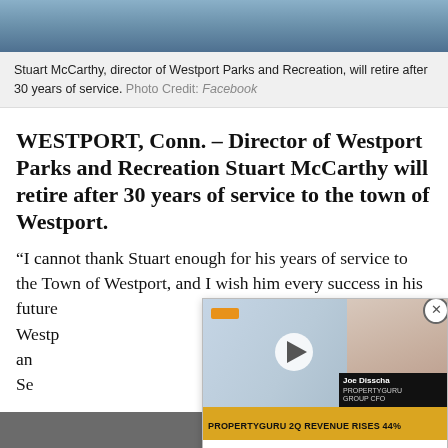[Figure (photo): Photo strip showing people at a meeting or event, partially cropped at top of page]
Stuart McCarthy, director of Westport Parks and Recreation, will retire after 30 years of service. Photo Credit: Facebook
WESTPORT, Conn. – Director of Westport Parks and Recreation Stuart McCarthy will retire after 30 years of service to the town of Westport.
“I cannot thank Stuart enough for his years of service to the Town of Westport, and I wish him every success in his future [endeavors]. His legacy in the town of Westp[ort]... distinguished our Parks an[d Recreation] as second to none,” First Se[lectman said] in a statement.
[Figure (screenshot): Video overlay showing a man in a suit with text 'Joe Disscha - PROPERTYGURU GROUP CFO' and ticker 'PROPERTYGURU 2Q REVENUE RISES 44%']